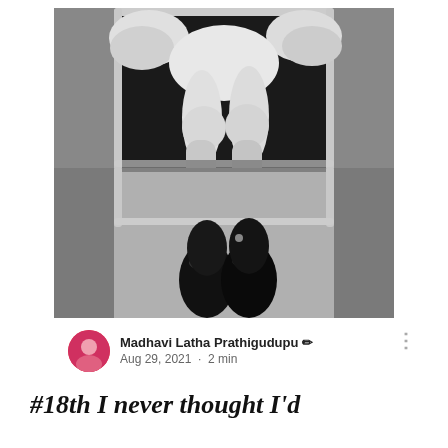[Figure (photo): Black and white photograph of a young child lying on a small metal cot or bed frame, seen from above. The child's legs are visible with chubby knees, wearing a light dress. At the bottom of the image, a pair of shiny black shoes with hair/bow decoration are visible on the floor below the cot.]
Madhavi Latha Prathigudupu ✏ Aug 29, 2021 · 2 min
#18th I never thought I'd